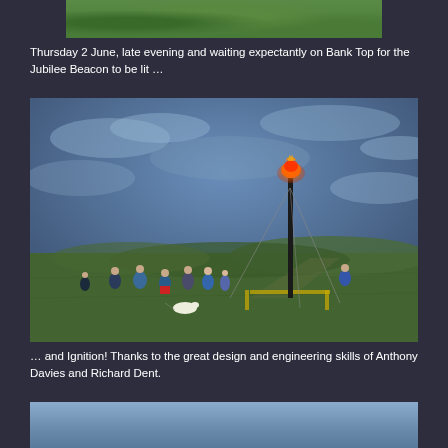[Figure (photo): Partial photo of green grassy hillside, top portion cut off at top of page]
Thursday 2 June, late evening and waiting expectantly on Bank Top for the Jubilee Beacon to be lit …
[Figure (photo): Photo of the Jubilee Beacon lit on a hilltop at dusk. A tall pole with a glowing red flame/crown on top stands on green moorland. Several people and dogs are visible in the foreground on the left. Rolling hills visible in the background under a dramatic blue-grey sky.]
… and Ignition! Thanks to the great design and engineering skills of Anthony Davies and Richard Dent.
[Figure (photo): Bottom portion of a third photo showing a cloudy sky, partially visible at bottom of page]